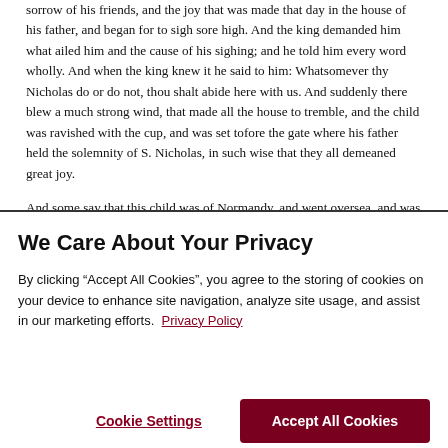sorrow of his friends, and the joy that was made that day in the house of his father, and began for to sigh sore high. And the king demanded him what ailed him and the cause of his sighing; and he told him every word wholly. And when the king knew it he said to him: Whatsomever thy Nicholas do or do not, thou shalt abide here with us. And suddenly there blew a much strong wind, that made all the house to tremble, and the child was ravished with the cup, and was set tofore the gate where his father held the solemnity of S. Nicholas, in such wise that they all demeaned great joy.
And some say that this child was of Normandy, and went oversea, and was taken by the sowdan, which made him oft to be beaten tofore him. And as he was beaten on a S. Nicholas day, and was after set in prison, he prayed to S.
We Care About Your Privacy
By clicking “Accept All Cookies”, you agree to the storing of cookies on your device to enhance site navigation, analyze site usage, and assist in our marketing efforts.  Privacy Policy
Cookie Settings
Accept All Cookies